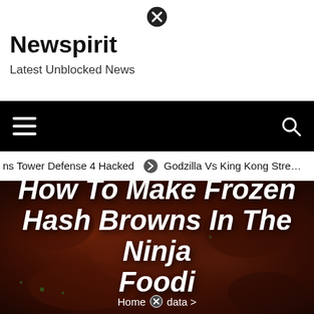✕ (close button icon)
Newspirit
Latest Unblocked News
[Figure (other): Black navigation bar with hamburger menu icon on left and search icon on right]
ns Tower Defense 4 Hacked  ➔  Godzilla Vs King Kong Stre…
[Figure (photo): Dark hero image of glazed/sauced food items (hash browns) with overlaid white bold italic title text reading: How To Make Frozen Hash Browns In The Ninja Foodi]
How To Make Frozen Hash Browns In The Ninja Foodi
Home ✕ data >